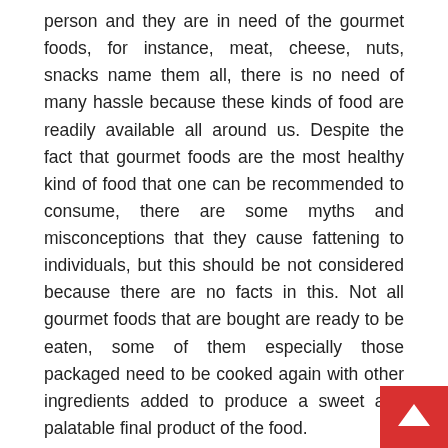person and they are in need of the gourmet foods, for instance, meat, cheese, nuts, snacks name them all, there is no need of many hassle because these kinds of food are readily available all around us. Despite the fact that gourmet foods are the most healthy kind of food that one can be recommended to consume, there are some myths and misconceptions that they cause fattening to individuals, but this should be not considered because there are no facts in this. Not all gourmet foods that are bought are ready to be eaten, some of them especially those packaged need to be cooked again with other ingredients added to produce a sweet and palatable final product of the food.
5 Uses For Health
Most people in this generation opt to purchase the already prepared gourmet foods either online or in a renowned restaurant to save them the hassle of maybe preparing food for the dinner parties as well as their meals when they reach home and tired, and this is much more comfortable. It is that quality is what makes something to be considered the best, and gourmet foods since they are of high-quality